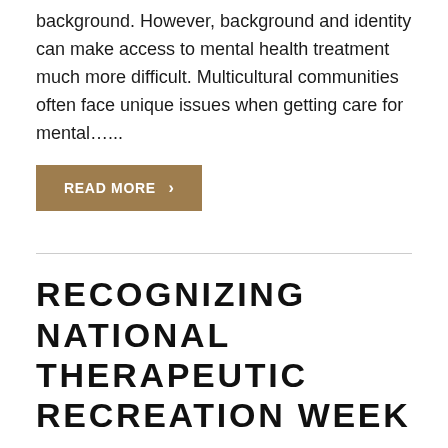background. However, background and identity can make access to mental health treatment much more difficult. Multicultural communities often face unique issues when getting care for mental…...
READ MORE ›
RECOGNIZING NATIONAL THERAPEUTIC RECREATION WEEK
JULY 7, 2020   FACILITY NEWS
National Therapeutic Recreation Week raises awareness of therapeutic recreation programs and services that could improve the health and well-being…